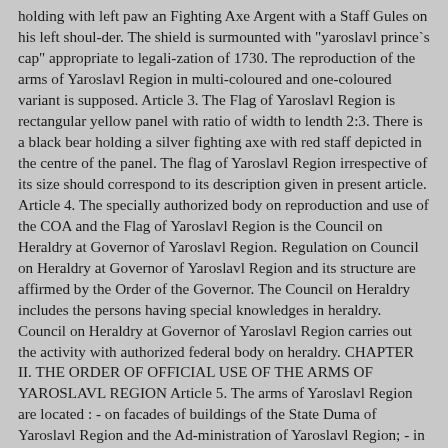holding with left paw an Fighting Axe Argent with a Staff Gules on his left shoul-der. The shield is surmounted with "yaroslavl prince`s cap" appropriate to legali-zation of 1730. The reproduction of the arms of Yaroslavl Region in multi-coloured and one-coloured variant is supposed. Article 3. The Flag of Yaroslavl Region is rectangular yellow panel with ratio of width to lendth 2:3. There is a black bear holding a silver fighting axe with red staff depicted in the centre of the panel. The flag of Yaroslavl Region irrespective of its size should correspond to its description given in present article. Article 4. The specially authorized body on reproduction and use of the COA and the Flag of Yaroslavl Region is the Council on Heraldry at Governor of Yaroslavl Region. Regulation on Council on Heraldry at Governor of Yaroslavl Region and its structure are affirmed by the Order of the Governor. The Council on Heraldry includes the persons having special knowledges in heraldry. Council on Heraldry at Governor of Yaroslavl Region carries out the activity with authorized federal body on heraldry. CHAPTER II. THE ORDER OF OFFICIAL USE OF THE ARMS OF YAROSLAVL REGION Article 5. The arms of Yaroslavl Region are located : - on facades of buildings of the State Duma of Yaroslavl Region and the Ad-ministration of Yaroslavl Region; - in studies of the Governor of Yaroslavl Region, Chairman of the State Duma of Yaroslavl; - in boardrooms of State Duma of Yaroslavl Region and the Administra-tion of Yaroslavl Region; - on facades of buildings of in Russian Federation and in